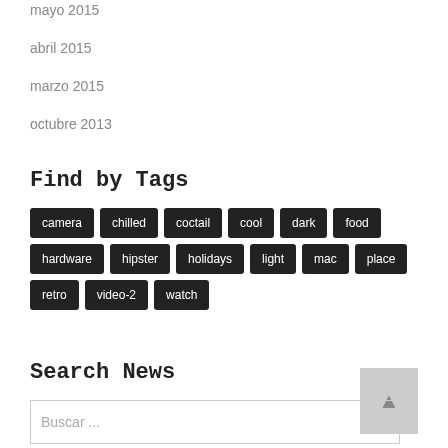mayo 2015
abril 2015
marzo 2015
octubre 2013
Find by Tags
camera
chilled
coctail
cool
dark
food
hardware
hipster
holidays
light
mac
place
retro
video-2
watch
Search News
Buscar ...